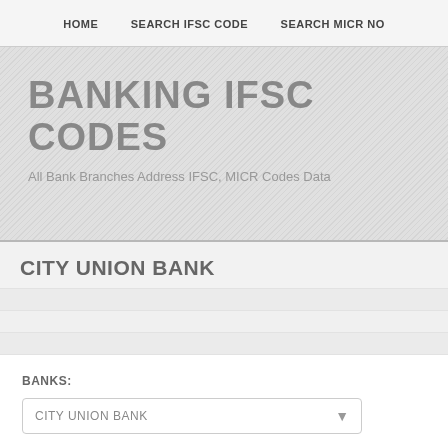HOME   SEARCH IFSC CODE   SEARCH MICR NO
BANKING IFSC CODES
All Bank Branches Address IFSC, MICR Codes Data
CITY UNION BANK
BANKS:
CITY UNION BANK